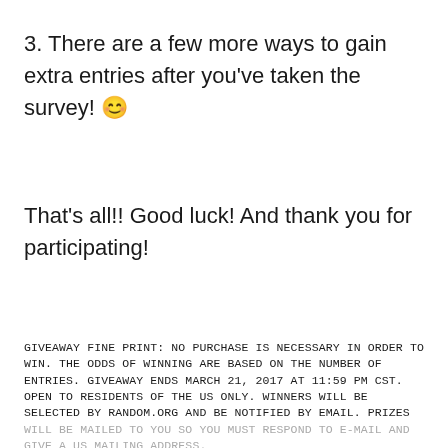3. There are a few more ways to gain extra entries after you've taken the survey! 😊
That's all!! Good luck! And thank you for participating!
GIVEAWAY FINE PRINT: NO PURCHASE IS NECESSARY IN ORDER TO WIN. THE ODDS OF WINNING ARE BASED ON THE NUMBER OF ENTRIES. GIVEAWAY ENDS MARCH 21, 2017 AT 11:59 PM CST. OPEN TO RESIDENTS OF THE US ONLY. WINNERS WILL BE SELECTED BY RANDOM.ORG AND BE NOTIFIED BY EMAIL. PRIZES WILL BE MAILED TO YOU SO YOU MUST RESPOND TO E-MAIL AND GIVE A US MAILING ADDRESS.